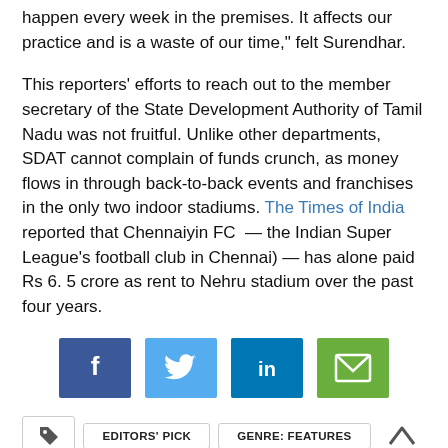happen every week in the premises. It affects our practice and is a waste of our time," felt Surendhar.
This reporters' efforts to reach out to the member secretary of the State Development Authority of Tamil Nadu was not fruitful. Unlike other departments, SDAT cannot complain of funds crunch, as money flows in through back-to-back events and franchises in the only two indoor stadiums. The Times of India reported that Chennaiyin FC — the Indian Super League's football club in Chennai) — has alone paid Rs 6. 5 crore as rent to Nehru stadium over the past four years.
[Figure (infographic): Social share buttons: Facebook, Twitter, LinkedIn, Email]
EDITORS' PICK
GENRE: FEATURES
GENRE: IN FOCUS
SPORTS
URBAN PLANNING